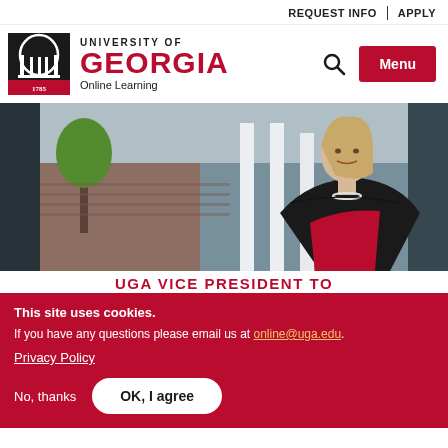REQUEST INFO | APPLY
[Figure (logo): University of Georgia Online Learning logo with UGA seal, text 'UNIVERSITY OF GEORGIA Online Learning', search icon, and Menu button]
[Figure (photo): Professional woman with blonde hair wearing a black blazer and red top, standing outdoors near white columns and brick building on UGA campus]
UGA VICE PRESIDENT TO
This site uses cookies.
If you have any questions please email us at online@uga.edu.
Privacy Policy
No, thanks
OK, I agree